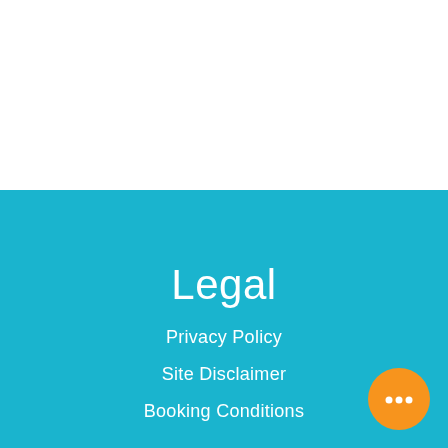[Figure (other): White background area at the top of the page]
Legal
Privacy Policy
Site Disclaimer
Booking Conditions
[Figure (illustration): Orange circular chat/messaging button icon with three dots, positioned in the bottom-right corner]